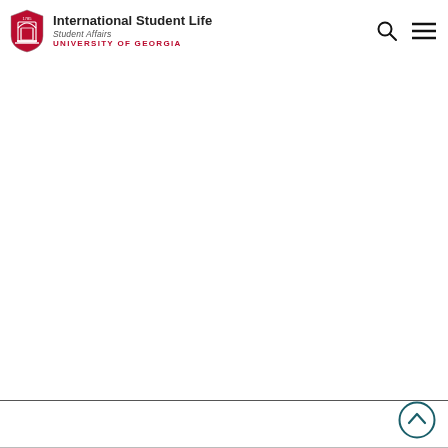[Figure (logo): University of Georgia International Student Life logo with UGA shield, text 'International Student Life', 'Student Affairs', 'UNIVERSITY OF GEORGIA']
[Figure (other): Search icon (magnifying glass) and hamburger menu icon in top right navigation]
[Figure (other): Scroll-to-top circular button with upward chevron arrow in bottom right corner]